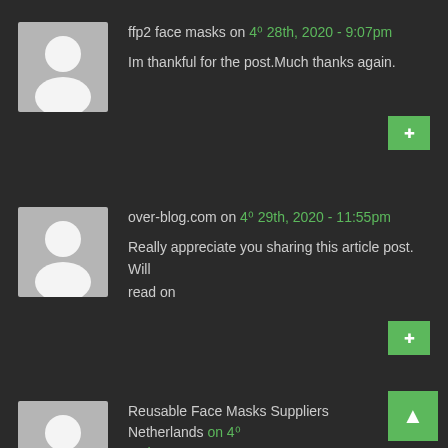ffp2 face masks on 4⁰ 28th, 2020 - 9:07pm
Im thankful for the post.Much thanks again.
over-blog.com on 4⁰ 29th, 2020 - 11:55pm
Really appreciate you sharing this article post. Will read on
Reusable Face Masks Suppliers Netherlands on 4⁰ 30th, 2020 - 2:14am
Wow! This could be one particular of the most